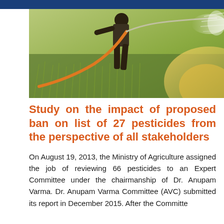[Figure (photo): A farmer spraying pesticides on a green field of crops, with a hose sprayer visible, mist dispersing to the right, warm sunlight in background.]
Study on the impact of proposed ban on list of 27 pesticides from the perspective of all stakeholders
On August 19, 2013, the Ministry of Agriculture assigned the job of reviewing 66 pesticides to an Expert Committee under the chairmanship of Dr. Anupam Varma. Dr. Anupam Varma Committee (AVC) submitted its report in December 2015. After the Committee...